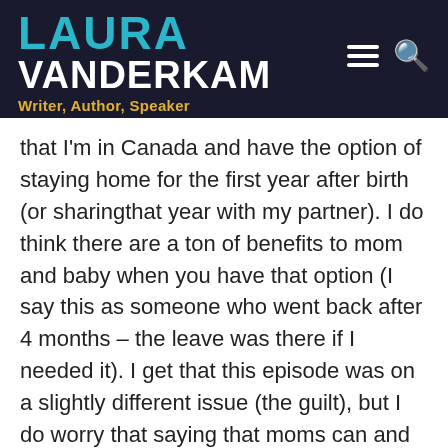LAURA VANDERKAM — Writer, Author, Speaker
that I'm in Canada and have the option of staying home for the first year after birth (or sharingthat year with my partner). I do think there are a ton of benefits to mom and baby when you have that option (I say this as someone who went back after 4 months – the leave was there if I needed it). I get that this episode was on a slightly different issue (the guilt), but I do worry that saying that moms can and should be able to handle work and family in the first year hinders the argument for paid family leave. I may be opening a can of worms with this comment, but I do strongly feel there are many many benefits to the whole family when mothers can have the security of a